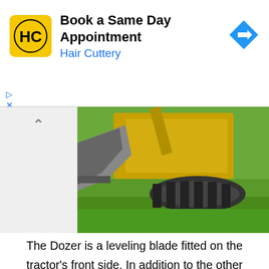[Figure (advertisement): Hair Cuttery advertisement banner with yellow HC logo, text 'Book a Same Day Appointment' and 'Hair Cuttery', and a blue diamond-shaped navigation arrow icon on the right.]
[Figure (photo): Photograph of a bulldozer or heavy equipment with a large blade/bucket attachment on green grass, taken from a low angle showing the tracks and blade.]
The Dozer is a leveling blade fitted on the tractor's front side. In addition to the other bull accessories, an identical is built to avoid damage to the tractor. Dozer is a robust rock moving machine used in road building, agriculture, construction, and wrecking, sometimes called Bulldozer. A long, heavy steel blade or plate mounted on the front of a tractor is included. It's